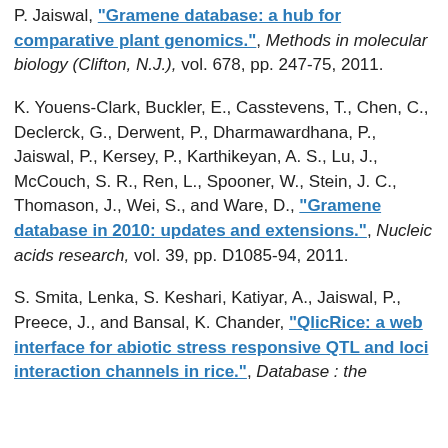P. Jaiswal, "Gramene database: a hub for comparative plant genomics.", Methods in molecular biology (Clifton, N.J.), vol. 678, pp. 247-75, 2011.
K. Youens-Clark, Buckler, E., Casstevens, T., Chen, C., Declerck, G., Derwent, P., Dharmawardhana, P., Jaiswal, P., Kersey, P., Karthikeyan, A. S., Lu, J., McCouch, S. R., Ren, L., Spooner, W., Stein, J. C., Thomason, J., Wei, S., and Ware, D., "Gramene database in 2010: updates and extensions.", Nucleic acids research, vol. 39, pp. D1085-94, 2011.
S. Smita, Lenka, S. Keshari, Katiyar, A., Jaiswal, P., Preece, J., and Bansal, K. Chander, "QlicRice: a web interface for abiotic stress responsive QTL and loci interaction channels in rice.", Database : the